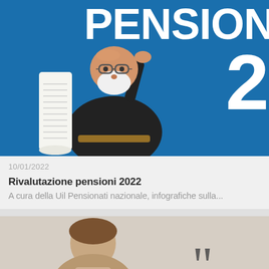[Figure (illustration): Blue background infographic card showing an elderly man with white beard and black clothing reading a long paper scroll. Large white text 'PENSIO...' at top and '2' visible on right edge. UIL Pensionati branding.]
10/01/2022
Rivalutazione pensioni 2022
A cura della Uil Pensionati nazionale, infografiche sulla...
[Figure (photo): Partially visible card showing a person's head/shoulders photo on the left and large quotation marks on the right, with light beige/gray background.]